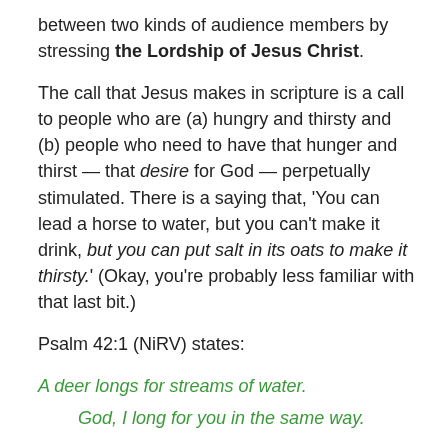between two kinds of audience members by stressing the Lordship of Jesus Christ.
The call that Jesus makes in scripture is a call to people who are (a) hungry and thirsty and (b) people who need to have that hunger and thirst — that desire for God — perpetually stimulated. There is a saying that, 'You can lead a horse to water, but you can't make it drink, but you can put salt in its oats to make it thirsty.' (Okay, you're probably less familiar with that last bit.)
Psalm 42:1 (NiRV) states:
A deer longs for streams of water.
    God, I long for you in the same way.
God wants to cultivate within us a hunger and thirst for Him. The person who has been a Christ-follower for 40-